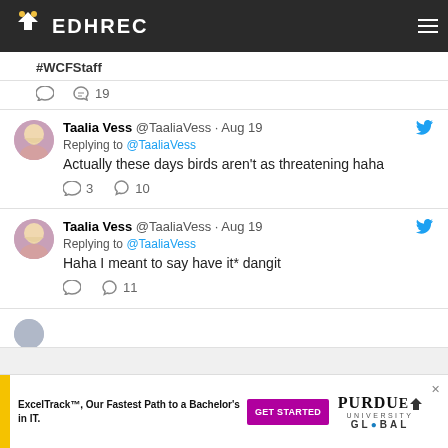EDHREC
#WCFStaff
19 likes
Taalia Vess @TaaliaVess · Aug 19
Replying to @TaaliaVess
Actually these days birds aren't as threatening haha
3 replies 10 likes
Taalia Vess @TaaliaVess · Aug 19
Replying to @TaaliaVess
Haha I meant to say have it* dangit
11 likes
[Figure (screenshot): Advertisement for Purdue University Global ExcelTrack Bachelor's in IT with GET STARTED button]